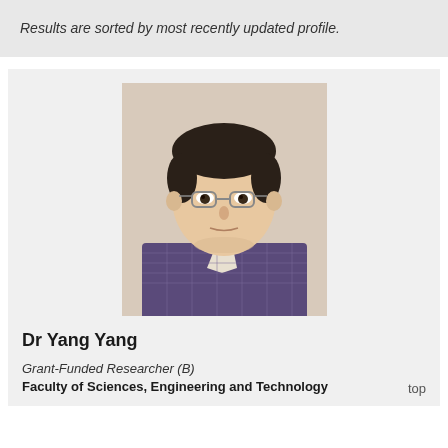Results are sorted by most recently updated profile.
[Figure (photo): Headshot photo of Dr Yang Yang, a man wearing glasses and a checked shirt, against a light background]
Dr Yang Yang
Grant-Funded Researcher (B)
Faculty of Sciences, Engineering and Technology